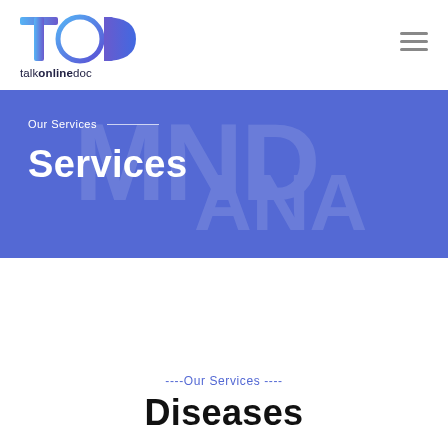[Figure (logo): TOD talkonlinedoc logo with circular heartbeat icon in blue/purple gradient]
talkonlinedoc
[Figure (infographic): Blue banner with 'Our Services' label and 'Services' heading on blue background with watermark DNA/medical text pattern]
Our Services
Services
----Our Services ----
Diseases